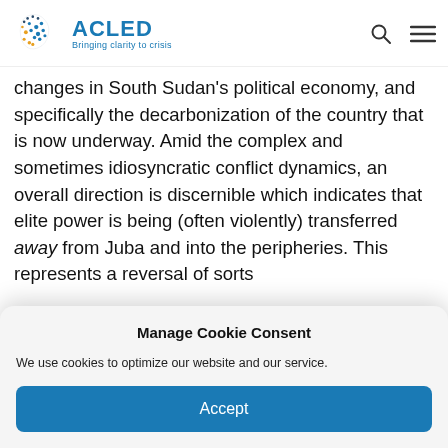ACLED — Bringing clarity to crisis
changes in South Sudan's political economy, and specifically the decarbonization of the country that is now underway. Amid the complex and sometimes idiosyncratic conflict dynamics, an overall direction is discernible which indicates that elite power is being (often violently) transferred away from Juba and into the peripheries. This represents a reversal of sorts
Manage Cookie Consent
We use cookies to optimize our website and our service.
Accept